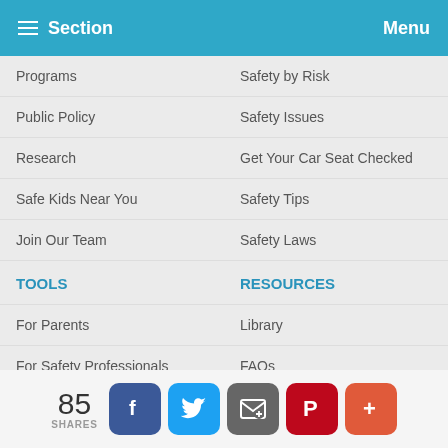Section  Menu
Programs
Safety by Risk
Public Policy
Safety Issues
Research
Get Your Car Seat Checked
Safe Kids Near You
Safety Tips
Join Our Team
Safety Laws
TOOLS
RESOURCES
For Parents
Library
For Safety Professionals
FAQs
For Educators
CPS Certification
We use cookies on this site to enhance your user experience
By clicking any link on this page you are giving your consent for us to set cookies. No, give me more info
85 SHARES